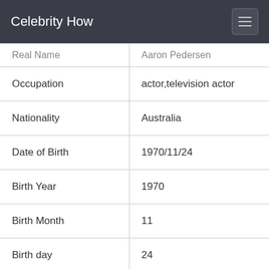Celebrity How
| Real Name | Aaron Pedersen |
| --- | --- |
| Occupation | actor,television actor |
| Nationality | Australia |
| Date of Birth | 1970/11/24 |
| Birth Year | 1970 |
| Birth Month | 11 |
| Birth day | 24 |
| Age | 50 |